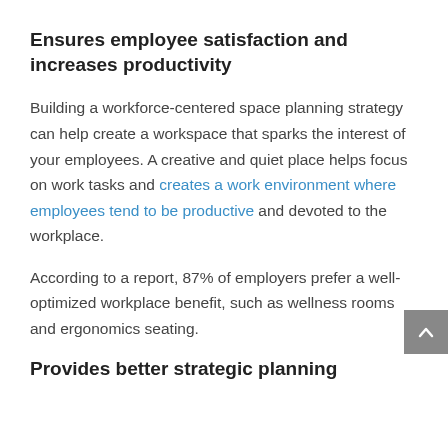Ensures employee satisfaction and increases productivity
Building a workforce-centered space planning strategy can help create a workspace that sparks the interest of your employees. A creative and quiet place helps focus on work tasks and creates a work environment where employees tend to be productive and devoted to the workplace.
According to a report, 87% of employers prefer a well-optimized workplace benefit, such as wellness rooms and ergonomics seating.
Provides better strategic planning